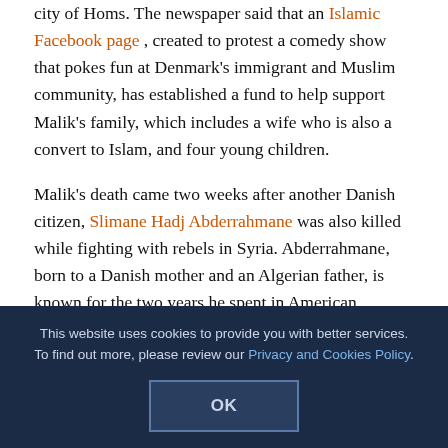city of Homs. The newspaper said that an Islamic Facebook page , created to protest a comedy show that pokes fun at Denmark's immigrant and Muslim community, has established a fund to help support Malik's family, which includes a wife who is also a convert to Islam, and four young children.
Malik's death came two weeks after another Danish citizen, Slimane Hadj Abderrahmane was also killed while fighting with rebels in Syria. Abderrahmane, born to a Danish mother and an Algerian father, is known for the two years he spent in American custody at the Guantanamo military base after being captured in Afghanistan in 2001.
According to an article in US News & World Report, to deal with his release, Danish officials had to make reservations from American security officials, because the Danish government had threatened to withdraw its troops from Iraq if he were not released.
This website uses cookies to provide you with better services. To find out more, please review our Privacy and Cookies Policy.